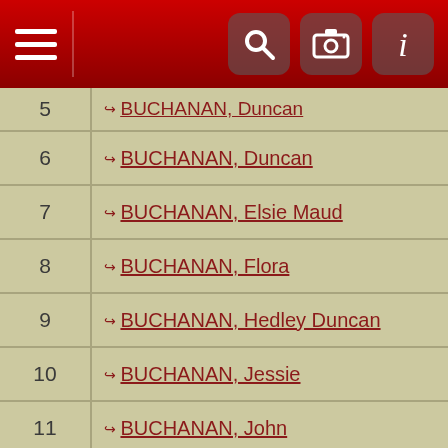App header with menu, search, camera, and info icons
| # | Name |
| --- | --- |
| 5 | BUCHANAN, Duncan |
| 6 | BUCHANAN, Duncan |
| 7 | BUCHANAN, Elsie Maud |
| 8 | BUCHANAN, Flora |
| 9 | BUCHANAN, Hedley Duncan |
| 10 | BUCHANAN, Jessie |
| 11 | BUCHANAN, John |
| 12 | BUCHANAN, John |
| 13 | BUCHANAN, John Smith |
| 14 | BUCHANAN, Mary |
| 15 | BUCHANAN, Peter |